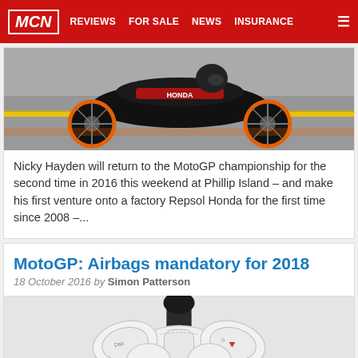MCN | REVIEWS | FOR SALE | NEWS | INSURANCE
[Figure (photo): Repsol Honda MotoGP motorcycle race action photo with orange wheels]
Nicky Hayden will return to the MotoGP championship for the second time in 2016 this weekend at Phillip Island – and make his first venture onto a factory Repsol Honda for the first time since 2008 –...
MotoGP: Airbags mandatory for 2018
18 October 2016 by Simon Patterson
[Figure (photo): White airbag vest/chest protector displayed on a mannequin torso, with Dainese branding]